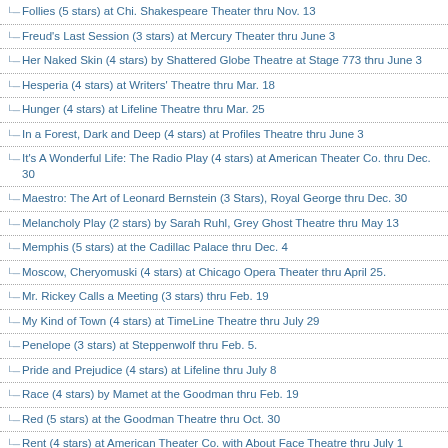Follies (5 stars) at Chi. Shakespeare Theater thru Nov. 13
Freud's Last Session (3 stars) at Mercury Theater thru June 3
Her Naked Skin (4 stars) by Shattered Globe Theatre at Stage 773 thru June 3
Hesperia (4 stars) at Writers' Theatre thru Mar. 18
Hunger (4 stars) at Lifeline Theatre thru Mar. 25
In a Forest, Dark and Deep (4 stars) at Profiles Theatre thru June 3
It's A Wonderful Life: The Radio Play (4 stars) at American Theater Co. thru Dec. 30
Maestro: The Art of Leonard Bernstein (3 Stars), Royal George thru Dec. 30
Melancholy Play (2 stars) by Sarah Ruhl, Grey Ghost Theatre thru May 13
Memphis (5 stars) at the Cadillac Palace thru Dec. 4
Moscow, Cheryomuski (4 stars) at Chicago Opera Theater thru April 25.
Mr. Rickey Calls a Meeting (3 stars) thru Feb. 19
My Kind of Town (4 stars) at TimeLine Theatre thru July 29
Penelope (3 stars) at Steppenwolf thru Feb. 5.
Pride and Prejudice (4 stars) at Lifeline thru July 8
Race (4 stars) by Mamet at the Goodman thru Feb. 19
Red (5 stars) at the Goodman Theatre thru Oct. 30
Rent (4 stars) at American Theater Co. with About Face Theatre thru July 1
Rick Bayless in Cascabel (4 stars) at Lookingglass thru April 29